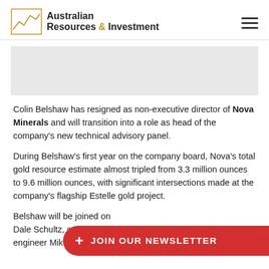Australian Resources & Investment
Colin Belshaw has resigned as non-executive director of Nova Minerals and will transition into a role as head of the company's new technical advisory panel.
During Belshaw's first year on the company board, Nova's total gold resource estimate almost tripled from 3.3 million ounces to 9.6 million ounces, with significant intersections made at the company's flagship Estelle gold project.
Belshaw will be joined on [panel by] Dale Schultz, senior meta[llurgical] engineer Mike Hallewell and Nova chief executive officer and
[Figure (other): JOIN OUR NEWSLETTER red pill-shaped button overlay]